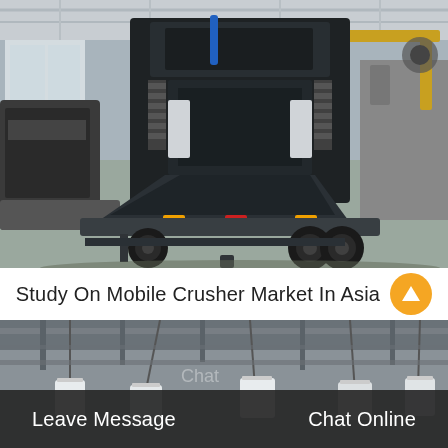[Figure (photo): Industrial mobile jaw crusher mounted on a trailer/truck chassis inside a large factory/warehouse. Large black steel crushing unit with springs visible, on dual rear wheels. Other heavy machinery visible in background. Indoor industrial setting with steel roof structure.]
Study On Mobile Crusher Market In Asia
[Figure (photo): Industrial ceiling/overhead view showing pipes, cables, buckets or containers hanging from ceiling structure in what appears to be an industrial facility. Partially obscured by a chat overlay interface.]
Leave Message
Chat Online